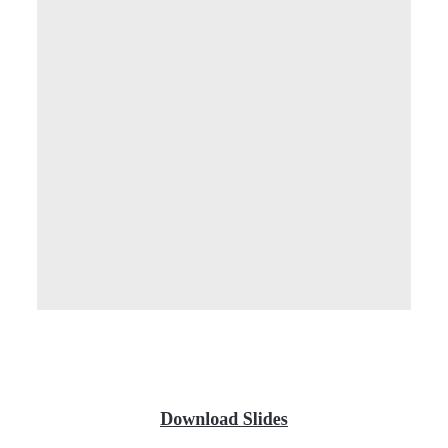[Figure (other): Large light gray rectangular placeholder area representing a slide image or blank slide content area.]
Download Slides